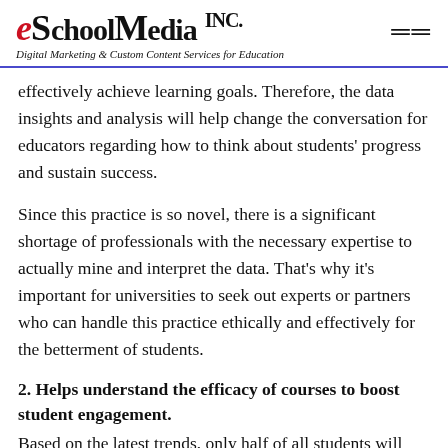eSchoolMedia Inc. — Digital Marketing & Custom Content Services for Education
effectively achieve learning goals. Therefore, the data insights and analysis will help change the conversation for educators regarding how to think about students' progress and sustain success.
Since this practice is so novel, there is a significant shortage of professionals with the necessary expertise to actually mine and interpret the data. That's why it's important for universities to seek out experts or partners who can handle this practice ethically and effectively for the betterment of students.
2. Helps understand the efficacy of courses to boost student engagement.
Based on the latest trends, only half of all students will